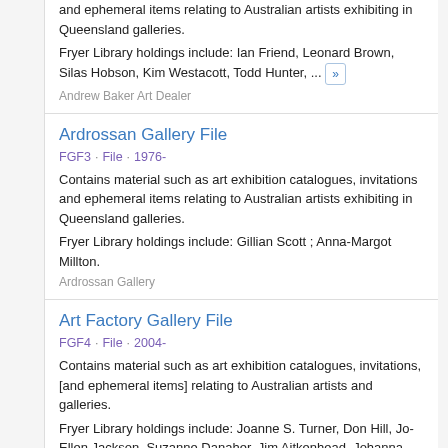and ephemeral items relating to Australian artists exhibiting in Queensland galleries.
Fryer Library holdings include: Ian Friend, Leonard Brown, Silas Hobson, Kim Westacott, Todd Hunter, ...
Andrew Baker Art Dealer
Ardrossan Gallery File
FGF3 · File · 1976-
Contains material such as art exhibition catalogues, invitations and ephemeral items relating to Australian artists exhibiting in Queensland galleries.
Fryer Library holdings include: Gillian Scott ; Anna-Margot Millton.
Ardrossan Gallery
Art Factory Gallery File
FGF4 · File · 2004-
Contains material such as art exhibition catalogues, invitations, [and ephemeral items] relating to Australian artists and galleries.
Fryer Library holdings include: Joanne S. Turner, Don Hill, Jo-Ellen Jackson, Suzanne Danaher, Jim Aitkenhead, Johanna ...
Art Factory Gallery